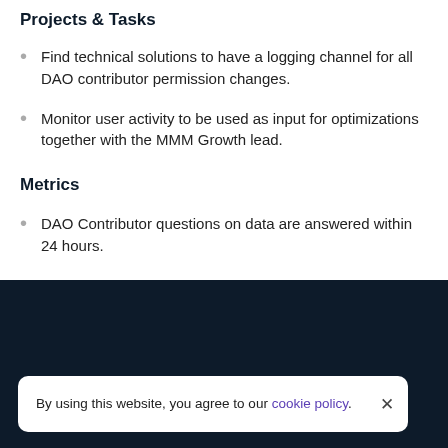Projects & Tasks
Find technical solutions to have a logging channel for all DAO contributor permission changes.
Monitor user activity to be used as input for optimizations together with the MMM Growth lead.
Metrics
DAO Contributor questions on data are answered within 24 hours.
By using this website, you agree to our cookie policy.